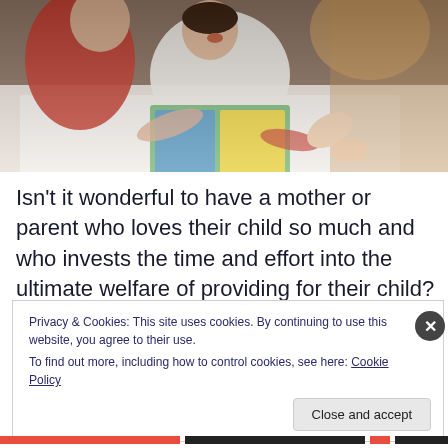[Figure (photo): A parent and young child sitting on a bed reading a book together. The child is in white patterned pajamas reaching toward the book, parent wearing red. Warm indoor lighting.]
Isn't it wonderful to have a mother or parent who loves their child so much and who invests the time and effort into the ultimate welfare of providing for their child?
Privacy & Cookies: This site uses cookies. By continuing to use this website, you agree to their use.
To find out more, including how to control cookies, see here: Cookie Policy
Close and accept